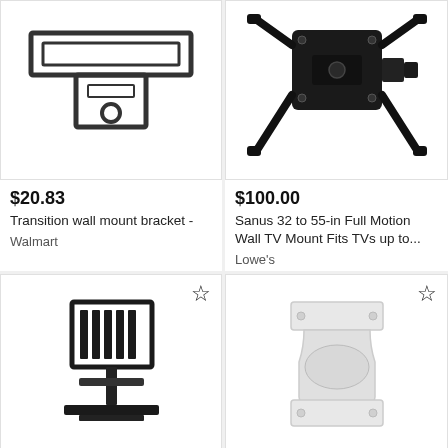[Figure (photo): Transition wall mount bracket line drawing, T-shaped bracket with circular hole]
[Figure (photo): Sanus full motion TV wall mount, black articulating arm, view from back]
$20.83
Transition wall mount bracket -
Walmart
$100.00
Sanus 32 to 55-in Full Motion Wall TV Mount Fits TVs up to...
Lowe's
[Figure (photo): Black TV floor stand / tabletop mount with flat base and bracket]
[Figure (photo): White security camera wall mount bracket, L-shaped with mounting plate]